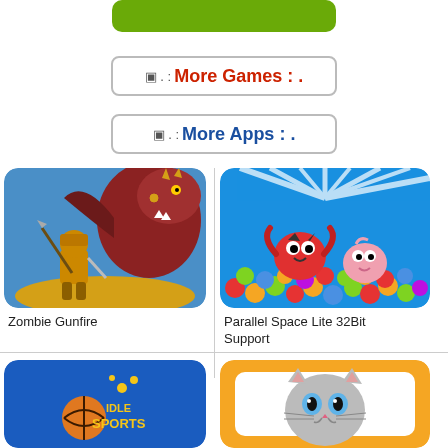[Figure (other): Green button at top of page (partial)]
[Figure (other): More Games button with red text and border]
[Figure (other): More Apps button with blue text and border]
[Figure (illustration): Zombie Gunfire app icon showing a warrior fighting a dragon monster on a blue background]
Zombie Gunfire
[Figure (illustration): Parallel Space Lite 32Bit Support app icon showing cartoon birds in colorful ball pit]
Parallel Space Lite 32Bit Support
[Figure (illustration): Idle Sports app icon showing basketball on blue background]
[Figure (illustration): Cat app icon showing a grey kitten with orange border]